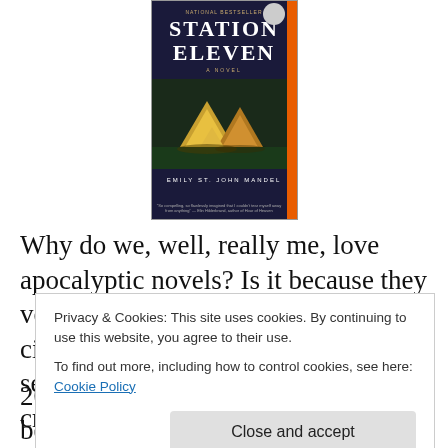[Figure (photo): Book cover of 'Station Eleven' by Emily St. John Mandel. Dark blue/navy background with large white title text, golden tents in the lower portion, orange spine strip, and a circular badge in the top right corner. Subtitle 'A Novel' in small caps. Bottom has a blurb quote.]
Why do we, well, really me, love apocalyptic novels? Is it because they voice our fears about our so-called civilization? Or is it because we secretly wish our society and all the crazy people and things that happen would get their comeuppance?
Privacy & Cookies: This site uses cookies. By continuing to use this website, you agree to their use.
To find out more, including how to control cookies, see here: Cookie Policy
2014 and thrust into best-seller and best-book status,